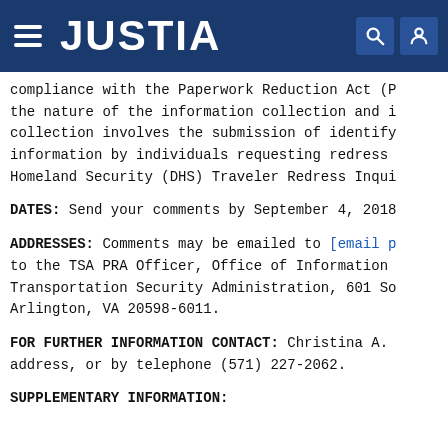JUSTIA
compliance with the Paperwork Reduction Act (P the nature of the information collection and i collection involves the submission of identify information by individuals requesting redress Homeland Security (DHS) Traveler Redress Inqui
DATES: Send your comments by September 4, 2018
ADDRESSES: Comments may be emailed to [email p to the TSA PRA Officer, Office of Information Transportation Security Administration, 601 So Arlington, VA 20598-6011.
FOR FURTHER INFORMATION CONTACT: Christina A. address, or by telephone (571) 227-2062.
SUPPLEMENTARY INFORMATION: